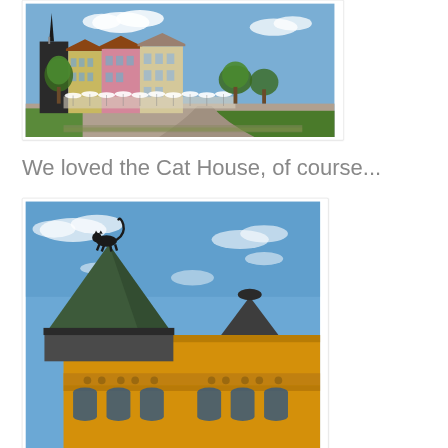[Figure (photo): A town square in Riga, Latvia with colorful historic buildings, outdoor café seating with white umbrellas, a church spire on the left, and green trees. Blue sky with white clouds.]
We loved the Cat House, of course...
[Figure (photo): The Cat House in Riga, Latvia – a yellow Art Nouveau building with a distinctive dark green conical turret roof topped by a black iron cat sculpture with its tail raised. Blue sky in background.]